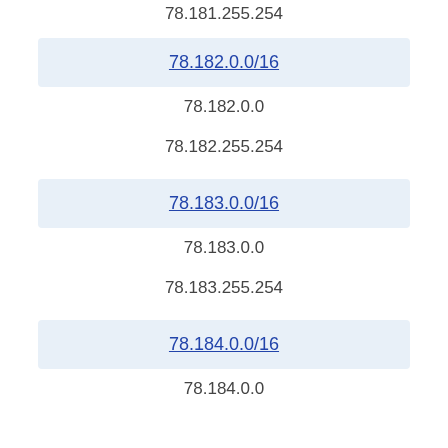78.181.255.254
78.182.0.0/16
78.182.0.0
78.182.255.254
78.183.0.0/16
78.183.0.0
78.183.255.254
78.184.0.0/16
78.184.0.0